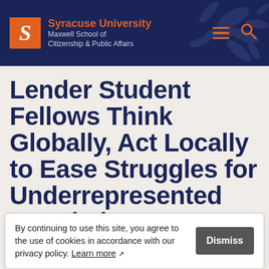Syracuse University Maxwell School of Citizenship & Public Affairs
Lender Student Fellows Think Globally, Act Locally to Ease Struggles for Underrepresented Population
By continuing to use this site, you agree to the use of cookies in accordance with our privacy policy. Learn more
SU News